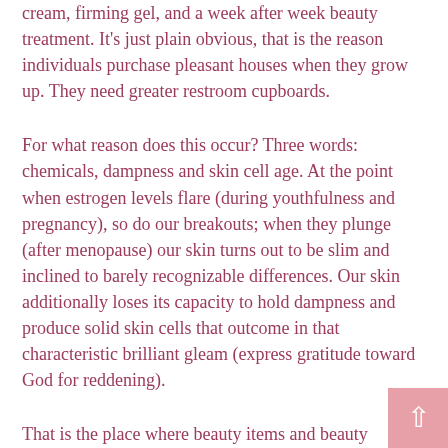cream, firming gel, and a week after week beauty treatment. It's just plain obvious, that is the reason individuals purchase pleasant houses when they grow up. They need greater restroom cupboards.
For what reason does this occur? Three words: chemicals, dampness and skin cell age. At the point when estrogen levels flare (during youthfulness and pregnancy), so do our breakouts; when they plunge (after menopause) our skin turns out to be slim and inclined to barely recognizable differences. Our skin additionally loses its capacity to hold dampness and produce solid skin cells that outcome in that characteristic brilliant gleam (express gratitude toward God for reddening).
That is the place where beauty items and beauty medicines come in. They give the supplements, helping skin cell creation. They add dampness, forestalling dryness and wrinkles. They eliminate dead skin cells and any frightful pollutants that can cause breakouts. So which beauty items and beauty medicines do you require now? Peruse on.